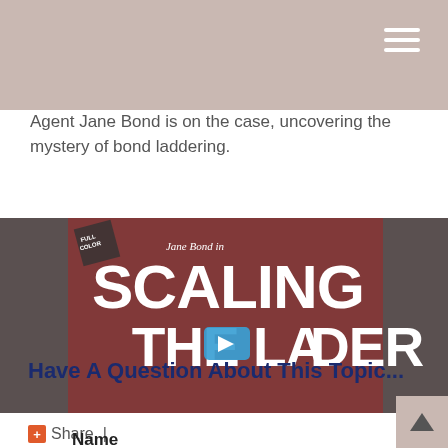Agent Jane Bond is on the case, uncovering the mystery of bond laddering.
[Figure (screenshot): Video thumbnail showing a book or comic cover titled 'Jane Bond in SCALING THE LADDER' with a play button overlay in blue. The image has a reddish-brown color scheme showing a building with fire escapes.]
+ Share  |
Have A Question About This Topic...
Name